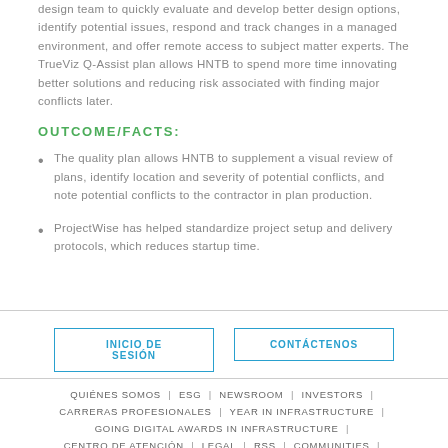design team to quickly evaluate and develop better design options, identify potential issues, respond and track changes in a managed environment, and offer remote access to subject matter experts. The TrueViz Q-Assist plan allows HNTB to spend more time innovating better solutions and reducing risk associated with finding major conflicts later.
OUTCOME/FACTS:
The quality plan allows HNTB to supplement a visual review of plans, identify location and severity of potential conflicts, and note potential conflicts to the contractor in plan production.
ProjectWise has helped standardize project setup and delivery protocols, which reduces startup time.
INICIO DE SESIÓN | CONTÁCTENOS | QUIÉNES SOMOS | ESG | NEWSROOM | INVESTORS | CARRERAS PROFESIONALES | YEAR IN INFRASTRUCTURE | GOING DIGITAL AWARDS IN INFRASTRUCTURE | CENTRO DE ATENCIÓN | LEGAL | RSS | COMMUNITIES